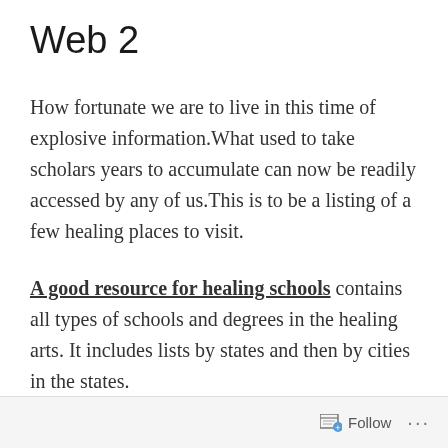Web 2
How fortunate we are to live in this time of explosive information.What used to take scholars years to accumulate can now be readily accessed by any of us.This is to be a listing of a few healing places to visit.
A good resource for healing schools contains all types of schools and degrees in the healing arts. It includes lists by states and then by cities in the states.
Follow ...